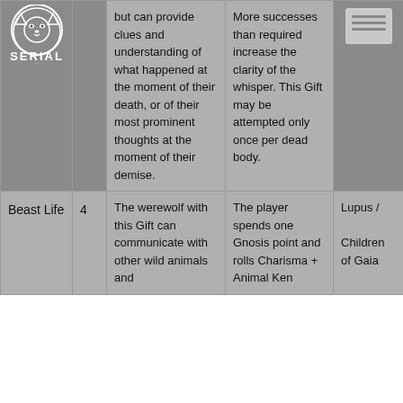| Name | Rank | Description | Roll | Tribe |
| --- | --- | --- | --- | --- |
|  |  | but can provide clues and understanding of what happened at the moment of their death, or of their most prominent thoughts at the moment of their demise. | More successes than required increase the clarity of the whisper. This Gift may be attempted only once per dead body. |  |
| Beast Life | 4 | The werewolf with this Gift can communicate with other wild animals and | The player spends one Gnosis point and rolls Charisma + Animal Ken | Lupus /
Children of Gaia |